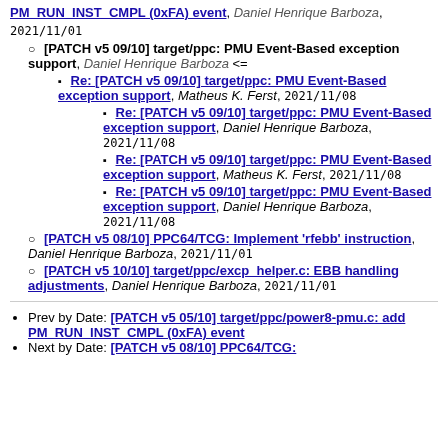PM_RUN_INST_CMPL (0xFA) event, Daniel Henrique Barboza, 2021/11/01
[PATCH v5 09/10] target/ppc: PMU Event-Based exception support, Daniel Henrique Barboza <=
Re: [PATCH v5 09/10] target/ppc: PMU Event-Based exception support, Matheus K. Ferst, 2021/11/08
Re: [PATCH v5 09/10] target/ppc: PMU Event-Based exception support, Daniel Henrique Barboza, 2021/11/08
Re: [PATCH v5 09/10] target/ppc: PMU Event-Based exception support, Matheus K. Ferst, 2021/11/08
Re: [PATCH v5 09/10] target/ppc: PMU Event-Based exception support, Daniel Henrique Barboza, 2021/11/08
[PATCH v5 08/10] PPC64/TCG: Implement 'rfebb' instruction, Daniel Henrique Barboza, 2021/11/01
[PATCH v5 10/10] target/ppc/excp_helper.c: EBB handling adjustments, Daniel Henrique Barboza, 2021/11/01
Prev by Date: [PATCH v5 05/10] target/ppc/power8-pmu.c: add PM_RUN_INST_CMPL (0xFA) event
Next by Date: [PATCH v5 08/10] PPC64/TCG: